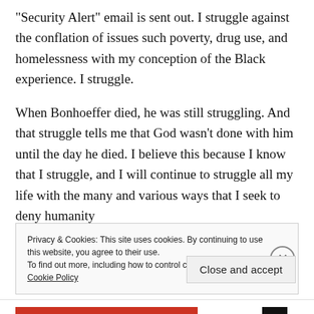“Security Alert” email is sent out. I struggle against the conflation of issues such poverty, drug use, and homelessness with my conception of the Black experience. I struggle.
When Bonhoeffer died, he was still struggling. And that struggle tells me that God wasn’t done with him until the day he died. I believe this because I know that I struggle, and I will continue to struggle all my life with the many and various ways that I seek to deny humanity
Privacy & Cookies: This site uses cookies. By continuing to use this website, you agree to their use.
To find out more, including how to control cookies, see here: Cookie Policy
Close and accept